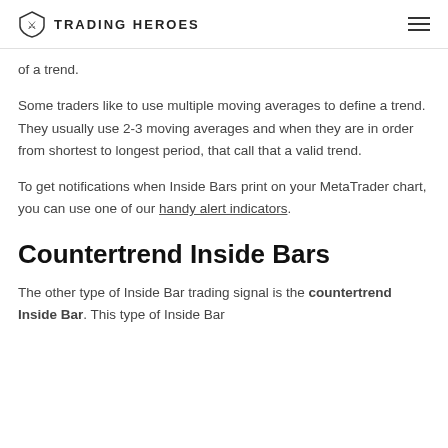TRADING HEROES
of a trend.
Some traders like to use multiple moving averages to define a trend. They usually use 2-3 moving averages and when they are in order from shortest to longest period, that call that a valid trend.
To get notifications when Inside Bars print on your MetaTrader chart, you can use one of our handy alert indicators.
Countertrend Inside Bars
The other type of Inside Bar trading signal is the countertrend Inside Bar. This type of Inside Bar